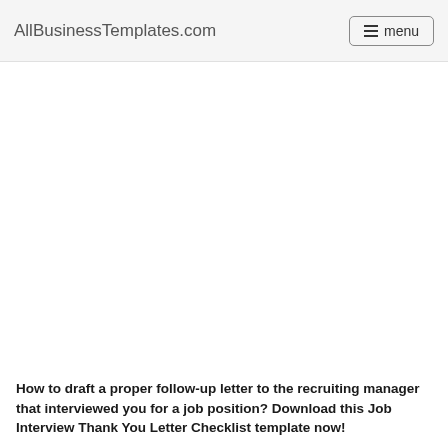AllBusinessTemplates.com
How to draft a proper follow-up letter to the recruiting manager that interviewed you for a job position? Download this Job Interview Thank You Letter Checklist template now!